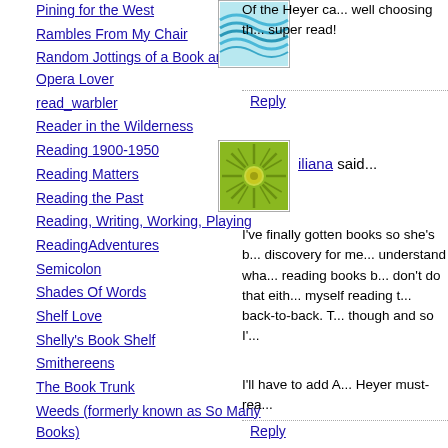Pining for the West
Rambles From My Chair
Random Jottings of a Book and Opera Lover
read_warbler
Reader in the Wilderness
Reading 1900-1950
Reading Matters
Reading the Past
Reading, Writing, Working, Playing
ReadingAdventures
Semicolon
Shades Of Words
Shelf Love
Shelly's Book Shelf
Smithereens
The Book Trunk
Weeds (formerly known as So Many Books)
[Figure (illustration): Blue wavy water illustration thumbnail]
Of the Heyer ca... well choosing th... super read!
Reply
[Figure (illustration): Green sun/starburst illustration thumbnail]
iliana said...
I've finally gotten books so she's b... discovery for me... understand wha... reading books b... don't do that eith... myself reading t... back-to-back. T... though and so I'...
I'll have to add A... Heyer must-rea...
Reply